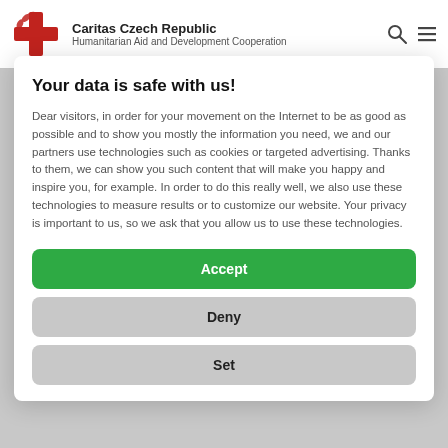Caritas Czech Republic | Humanitarian Aid and Development Cooperation
Your data is safe with us!
Dear visitors, in order for your movement on the Internet to be as good as possible and to show you mostly the information you need, we and our partners use technologies such as cookies or targeted advertising. Thanks to them, we can show you such content that will make you happy and inspire you, for example. In order to do this really well, we also use these technologies to measure results or to customize our website. Your privacy is important to us, so we ask that you allow us to use these technologies.
Accept
Deny
Set